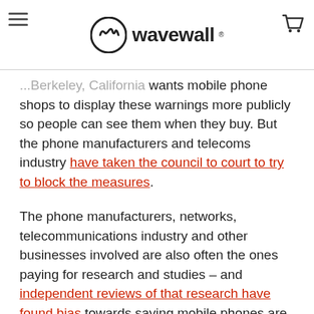wavewall
...Berkeley, California wants mobile phone shops to display these warnings more publicly so people can see them when they buy. But the phone manufacturers and telecoms industry have taken the council to court to try to block the measures.
The phone manufacturers, networks, telecommunications industry and other businesses involved are also often the ones paying for research and studies – and independent reviews of that research have found bias towards saying mobile phones are safe even when the science says otherwise.
These are studies that governments and health officials rely on when making decisions but that have been compromised by the involvement of the mobile phone industry. Independent scrutiny of different studies with different funding found that research paid for by the mobile